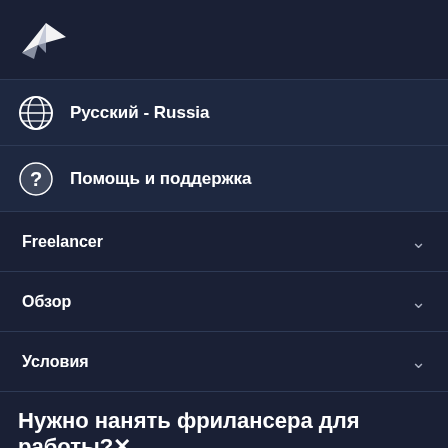[Figure (logo): Freelancer.com bird/rocket logo in white on dark background]
Русский - Russia
Помощь и поддержка
Freelancer
Обзор
Условия
Нужно нанять фрилансера для работы?×
Опубликовать проект